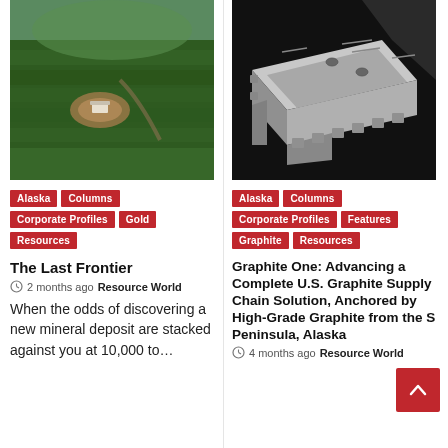[Figure (photo): Aerial view of a dense boreal forest with a small clearing showing mining equipment or camp in Alaska]
Alaska
Columns
Corporate Profiles
Gold
Resources
The Last Frontier
2 months ago  Resource World
When the odds of discovering a new mineral deposit are stacked against you at 10,000 to…
[Figure (photo): Black and white photograph of an industrial graphite or battery component — a rectangular metallic plate with slots and holes, viewed from above at an angle]
Alaska
Columns
Corporate Profiles
Features
Graphite
Resources
Graphite One: Advancing a Complete U.S. Graphite Supply Chain Solution, Anchored by High-Grade Graphite from the S Peninsula, Alaska
4 months ago  Resource World